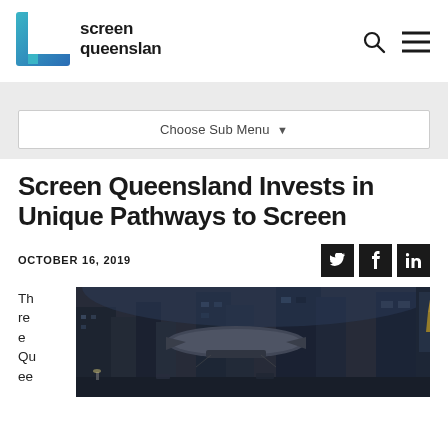[Figure (logo): Screen Queensland logo — square bracket icon in teal/blue gradient with 'screen queensland' text in dark]
Screen Queensland Invests in Unique Pathways to Screen
OCTOBER 16, 2019
Three Que
[Figure (photo): Sci-fi cityscape with futuristic airship/blimp flying between tall buildings in a dark, rainy urban environment]